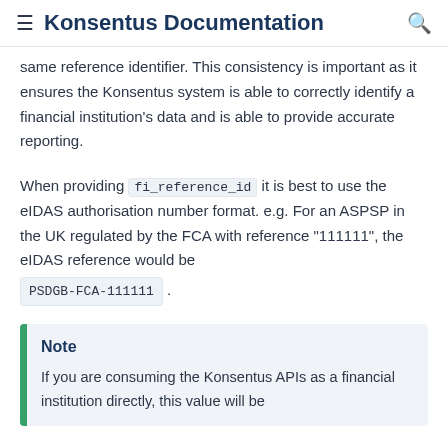Konsentus Documentation
same reference identifier. This consistency is important as it ensures the Konsentus system is able to correctly identify a financial institution's data and is able to provide accurate reporting.
When providing fi_reference_id it is best to use the eIDAS authorisation number format. e.g. For an ASPSP in the UK regulated by the FCA with reference "111111", the eIDAS reference would be PSDGB-FCA-111111.
Note
If you are consuming the Konsentus APIs as a financial institution directly, this value will be